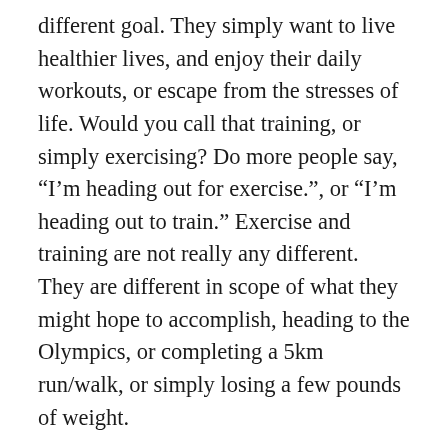different goal. They simply want to live healthier lives, and enjoy their daily workouts, or escape from the stresses of life. Would you call that training, or simply exercising? Do more people say, “I’m heading out for exercise.”, or “I’m heading out to train.” Exercise and training are not really any different. They are different in scope of what they might hope to accomplish, heading to the Olympics, or completing a 5km run/walk, or simply losing a few pounds of weight.
When we were speaking to the group, we thought that using the word training might be somewhat intimidating to the group, but as we walked around the indoor track with the group, I realized that